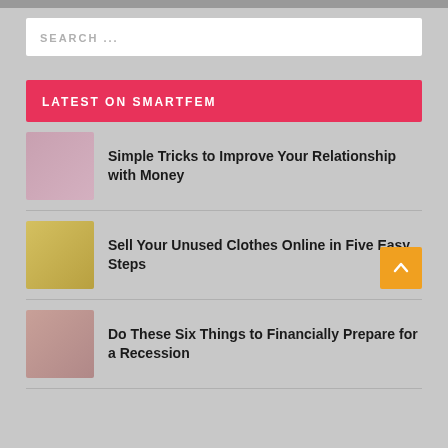[Figure (photo): Top image strip, partially visible at top of page]
SEARCH ...
LATEST ON SMARTFEM
[Figure (photo): Thumbnail of woman with piggy bank]
Simple Tricks to Improve Your Relationship with Money
[Figure (photo): Thumbnail of person folding clothes]
Sell Your Unused Clothes Online in Five Easy Steps
[Figure (photo): Thumbnail of person with coffee mug and documents]
Do These Six Things to Financially Prepare for a Recession